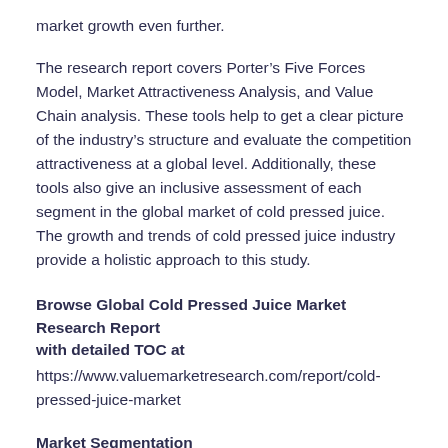market growth even further.
The research report covers Porter’s Five Forces Model, Market Attractiveness Analysis, and Value Chain analysis. These tools help to get a clear picture of the industry’s structure and evaluate the competition attractiveness at a global level. Additionally, these tools also give an inclusive assessment of each segment in the global market of cold pressed juice. The growth and trends of cold pressed juice industry provide a holistic approach to this study.
Browse Global Cold Pressed Juice Market Research Report with detailed TOC at
https://www.valuemarketresearch.com/report/cold-pressed-juice-market
Market Segmentation